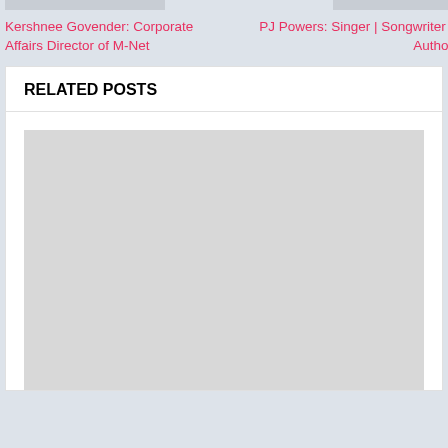[Figure (photo): Gray placeholder image strip at top left]
Kershnee Govender: Corporate Affairs Director of M-Net
[Figure (photo): Gray placeholder image strip at top right]
PJ Powers: Singer | Songwriter | Author
RELATED POSTS
[Figure (photo): Large gray placeholder image for related post]